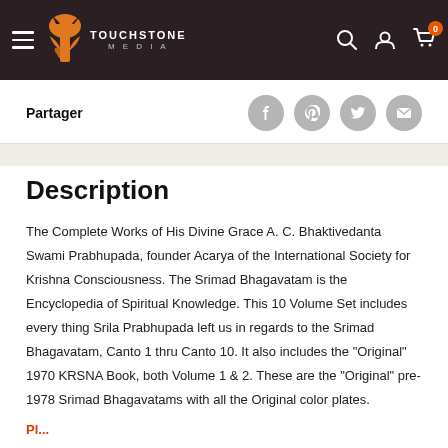Touchstone Media — Navigation bar with hamburger menu, logo, search, account, and cart icons
Partager
[Figure (other): Social sharing icons: Facebook, Pinterest, Twitter, Email]
Description
The Complete Works of His Divine Grace A. C. Bhaktivedanta Swami Prabhupada, founder Acarya of the International Society for Krishna Consciousness. The Srimad Bhagavatam is the Encyclopedia of Spiritual Knowledge. This 10 Volume Set includes every thing Srila Prabhupada left us in regards to the Srimad Bhagavatam, Canto 1 thru Canto 10. It also includes the "Original" 1970 KRSNA Book, both Volume 1 & 2. These are the "Original" pre-1978 Srimad Bhagavatams with all the Original color plates.